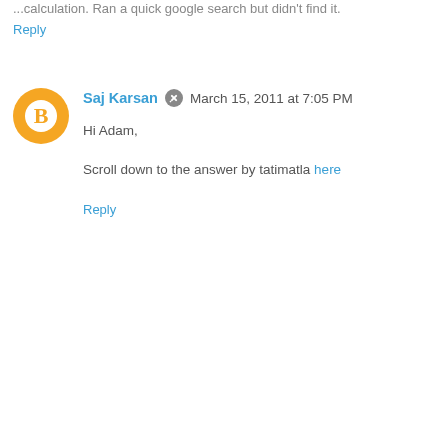...calculation. Ran a quick google search but didn't find it.
Reply
Saj Karsan · March 15, 2011 at 7:05 PM
Hi Adam,
Scroll down to the answer by tatimatla here
Reply